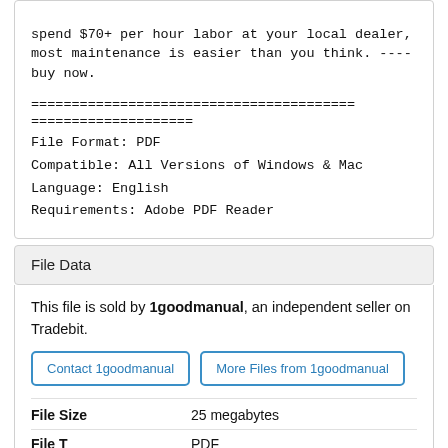spend $70+ per hour labor at your local dealer, most maintenance is easier than you think. ----buy now.
========================================
====================
File Format: PDF
Compatible: All Versions of Windows & Mac
Language: English
Requirements: Adobe PDF Reader
File Data
This file is sold by 1goodmanual, an independent seller on Tradebit.
Contact 1goodmanual   More Files from 1goodmanual
| File Size |  |
| --- | --- |
| File Size | 25 megabytes |
| File T... | PDF |